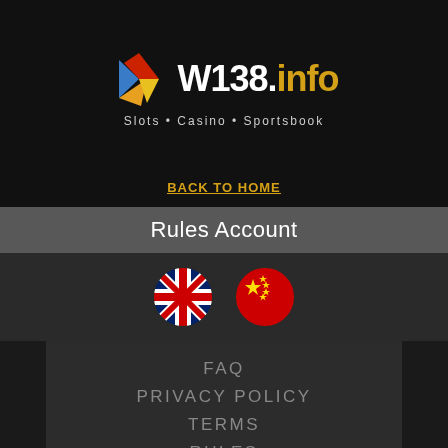[Figure (logo): W138.info logo with colorful star/arrow graphic and tagline 'Slots • Casino • Sportsbook']
BACK TO HOME
Rules Account
[Figure (illustration): Two circular flag icons: UK flag and China flag]
FAQ
PRIVACY POLICY
TERMS
RULES
[Figure (screenshot): Gold/yellow dropdown bar with down arrow triangle]